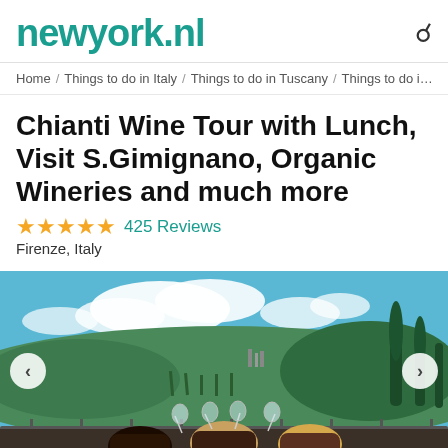newyork.nl
Home / Things to do in Italy / Things to do in Tuscany / Things to do i…
Chianti Wine Tour with Lunch, Visit S.Gimignano, Organic Wineries and much more
★★★★★ 425 Reviews
Firenze, Italy
[Figure (photo): Three women with long hair seen from behind, raising wine glasses in a toast, with Tuscan countryside hills, vineyards, cypress trees, and a blue sky with clouds in the background.]